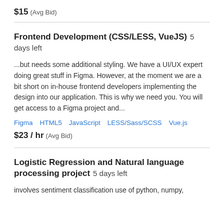$15  (Avg Bid)
Frontend Development (CSS/LESS, VueJS)  5 days left
...but needs some additional styling. We have a UI/UX expert doing great stuff in Figma. However, at the moment we are a bit short on in-house frontend developers implementing the design into our application. This is why we need you. You will get access to a Figma project and...
Figma   HTML5   JavaScript   LESS/Sass/SCSS   Vue.js
$23 / hr  (Avg Bid)
Logistic Regression and Natural language processing project  5 days left
involves sentiment classification use of python, numpy,